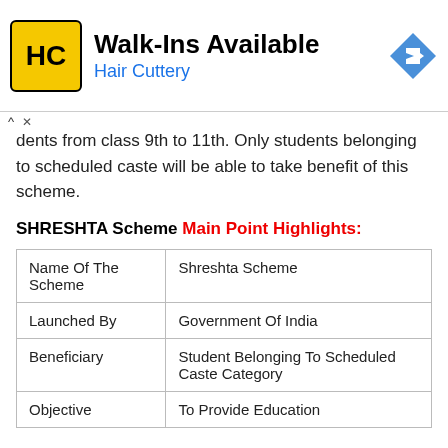[Figure (other): Hair Cuttery advertisement banner with yellow HC logo, 'Walk-Ins Available' heading, 'Hair Cuttery' subtext in blue, and blue direction arrow icon]
dents from class 9th to 11th. Only students belonging to scheduled caste will be able to take benefit of this scheme.
SHRESHTA Scheme Main Point Highlights:
|  |  |
| --- | --- |
| Name Of The Scheme | Shreshta Scheme |
| Launched By | Government Of India |
| Beneficiary | Student Belonging To Scheduled Caste Category |
| Objective | To Provide Education |